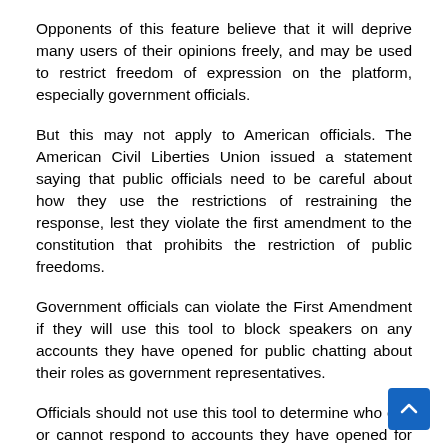Opponents of this feature believe that it will deprive many users of their opinions freely, and may be used to restrict freedom of expression on the platform, especially government officials.
But this may not apply to American officials. The American Civil Liberties Union issued a statement saying that public officials need to be careful about how they use the restrictions of restraining the response, lest they violate the first amendment to the constitution that prohibits the restriction of public freedoms.
Government officials can violate the First Amendment if they will use this tool to block speakers on any accounts they have opened for public chatting about their roles as government representatives.
Officials should not use this tool to determine who can or cannot respond to accounts they have opened for government assistance requests, which for example may be relevant to the